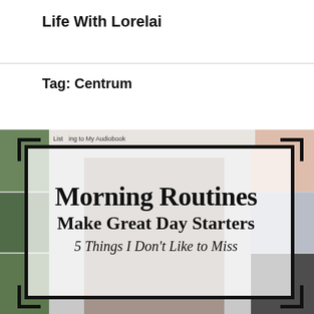Life With Lorelai
Tag: Centrum
[Figure (illustration): Blog post featured image showing a collage background with a white semi-transparent overlay box containing bold text: 'Morning Routines Make Great Day Starters 5 Things I Don't Like to Miss'. The overlay box has thick black corner bracket decorations. The background is a Pinterest-style collage with outdoor/nature photos on the left and lifestyle photos on the right, with a cat visible in the center.]